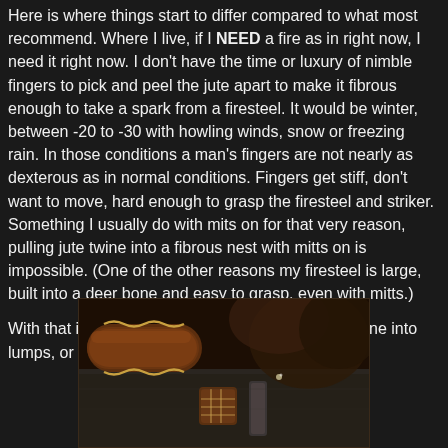Here is where things start to differ compared to what most recommend. Where I live, if I NEED a fire as in right now, I need it right now. I don't have the time or luxury of nimble fingers to pick and peel the jute apart to make it fibrous enough to take a spark from a firesteel. It would be winter, between -20 to -30 with howling winds, snow or freezing rain. In those conditions a man's fingers are not nearly as dexterous as in normal conditions. Fingers get stiff, don't want to move, hard enough to grasp the firesteel and striker. Something I usually do with mits on for that very reason, pulling jute twine into a fibrous nest with mitts on is impossible. (One of the other reasons my firesteel is large, built into a deer bone and easy to grasp, even with mitts.)

With that in mind, I like to twist or roll the waxed twine into lumps, or balls or squares as seen here:
[Figure (photo): A photograph showing waxed twine rolled into lumps/balls along with a firesteel built into a deer bone, on a dark stone surface, with other fire-making materials visible in the background.]